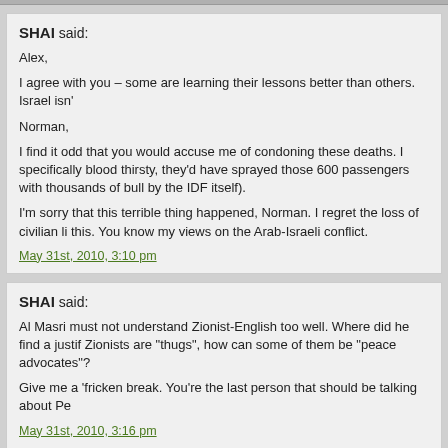SHAI said:
Alex,
I agree with you – some are learning their lessons better than others. Israel isn't
Norman,
I find it odd that you would accuse me of condoning these deaths. I specifically blood thirsty, they'd have sprayed those 600 passengers with thousands of bull by the IDF itself).
I'm sorry that this terrible thing happened, Norman. I regret the loss of civilian li this. You know my views on the Arab-Israeli conflict.
May 31st, 2010, 3:10 pm
SHAI said:
Al Masri must not understand Zionist-English too well. Where did he find a justif Zionists are "thugs", how can some of them be "peace advocates"?
Give me a 'fricken break. You're the last person that should be talking about Pe
May 31st, 2010, 3:16 pm
NORMAN said:
Shai,
Talking the talk is not enough , you should walk the walk if you mean what you s 1200 civilian in Lebanon , 1400 in Gaza , you don't consider that a blood thirsty
May 31st, 2010, 3:19 pm